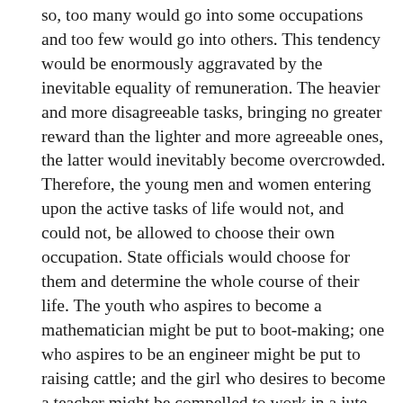so, too many would go into some occupations and too few would go into others. This tendency would be enormously aggravated by the inevitable equality of remuneration. The heavier and more disagreeable tasks, bringing no greater reward than the lighter and more agreeable ones, the latter would inevitably become overcrowded. Therefore, the young men and women entering upon the active tasks of life would not, and could not, be allowed to choose their own occupation. State officials would choose for them and determine the whole course of their life. The youth who aspires to become a mathematician might be put to boot-making; one who aspires to be an engineer might be put to raising cattle; and the girl who desires to become a teacher might be compelled to work in a jute factory. (Loud applause.) Natural aptitudes could not be considered even if they were known to those who determine the selection. But in most cases they cannot be known at the comparatively early age of the aspirants, for special aptitudes frequently, if not mostly, declare themselves